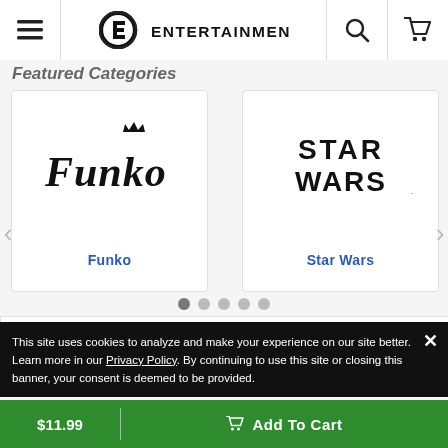Entertainment Earth — Navigation bar with hamburger menu, logo, search, and cart icons
Featured Categories
[Figure (logo): Funko logo — stylized script lettering with crown]
Funko
[Figure (logo): Star Wars logo — bold block lettering]
Star Wars
This site uses cookies to analyze and make your experience on our site better. Learn more in our Privacy Policy. By continuing to use this site or closing this banner, your consent is deemed to be provided.
$11.99
Add To Cart